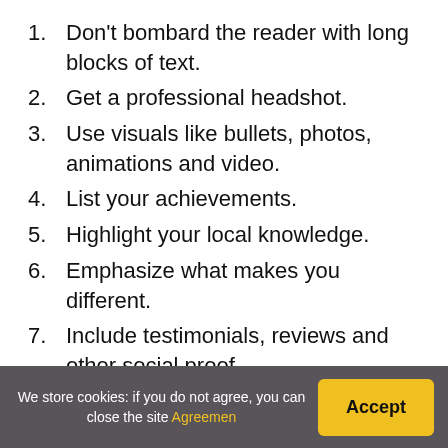1. Don't bombard the reader with long blocks of text.
2. Get a professional headshot.
3. Use visuals like bullets, photos, animations and video.
4. List your achievements.
5. Highlight your local knowledge.
6. Emphasize what makes you different.
7. Include testimonials, reviews and other social proof.
8. Write in the 3rd person.
How do you introduce
We store cookies: if you do not agree, you can close the site Agreemen  Accept